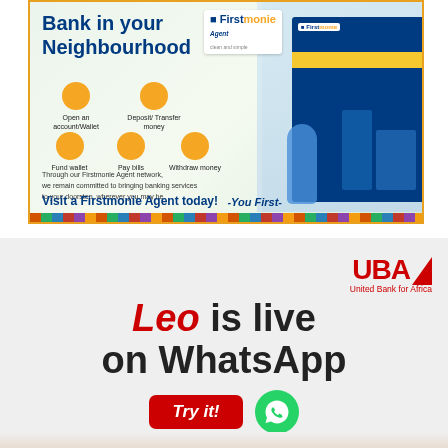[Figure (illustration): Firstmonie Agent bank advertisement. Headline: 'Bank in your Neighbourhood'. Icons for: Open an account/Wallet, Deposit/Transfer money, Fund wallet, Pay bills, Withdraw money. Text: 'Through our Firstmonie Agent network, we remain committed to bringing banking services to your doorstep, wherever you may be.' CTA: 'Visit a Firstmonie Agent today!' Tagline: '-You First-'. Firstmonie Agent logo top right. Bottom rainbow strip.]
[Figure (illustration): UBA United Bank for Africa advertisement. Headline: 'Leo is live on WhatsApp'. CTA button: 'Try it!' with WhatsApp icon. UBA logo with red text and triangle in top right.]